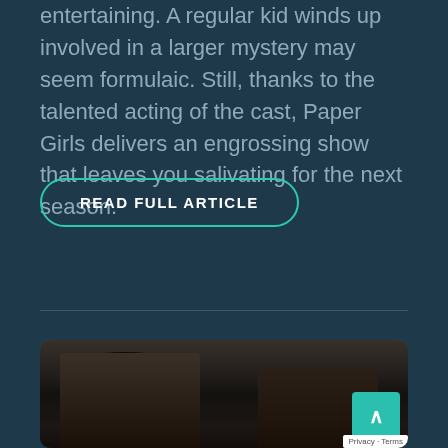entertaining. A regular kid winds up involved in a larger mystery may seem formulaic. Still, thanks to the talented acting of the cast, Paper Girls delivers an engrossing show that leaves you salivating for the next season.
READ FULL ARTICLE
[Figure (photo): A photo showing people, partially visible, appears to be a film or TV show still with two individuals visible.]